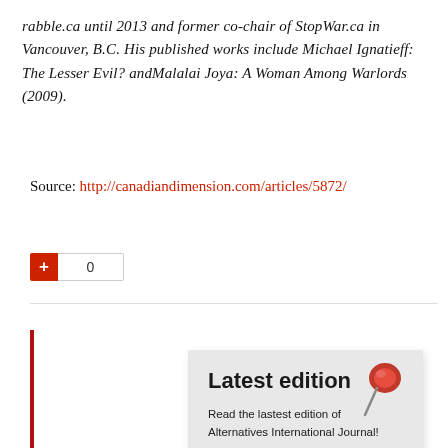rabble.ca until 2013 and former co-chair of StopWar.ca in Vancouver, B.C. His published works include Michael Ignatieff: The Lesser Evil? andMalalai Joya: A Woman Among Warlords (2009).
Source: http://canadiandimension.com/articles/5872/
[Figure (infographic): A vote/share widget showing a red plus button and a count of 0]
[Figure (infographic): A note card pinned with a red thumbtack showing 'Latest edition' heading, text 'Read the lastest edition of Alternatives International Journal!' and date 'July 2017' in red]